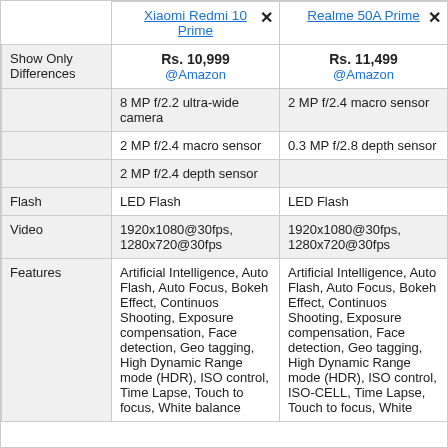|  | Xiaomi Redmi 10 Prime ✕ | Realme 50A Prime ✕ |
| --- | --- | --- |
| Show Only Differences | Rs. 10,999 @Amazon | Rs. 11,499 @Amazon |
|  | 8 MP f/2.2 ultra-wide camera | 2 MP f/2.4 macro sensor |
|  | 2 MP f/2.4 macro sensor | 0.3 MP f/2.8 depth sensor |
|  | 2 MP f/2.4 depth sensor |  |
| Flash | LED Flash | LED Flash |
| Video | 1920x1080@30fps, 1280x720@30fps | 1920x1080@30fps, 1280x720@30fps |
| Features | Artificial Intelligence, Auto Flash, Auto Focus, Bokeh Effect, Continuos Shooting, Exposure compensation, Face detection, Geo tagging, High Dynamic Range mode (HDR), ISO control, Time Lapse, Touch to focus, White balance | Artificial Intelligence, Auto Flash, Auto Focus, Bokeh Effect, Continuos Shooting, Exposure compensation, Face detection, Geo tagging, High Dynamic Range mode (HDR), ISO control, ISO-CELL, Time Lapse, Touch to focus, White |